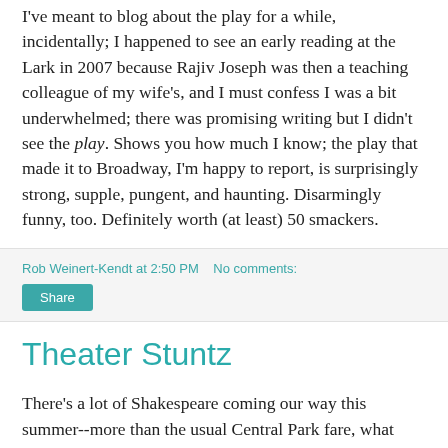I've meant to blog about the play for a while, incidentally; I happened to see an early reading at the Lark in 2007 because Rajiv Joseph was then a teaching colleague of my wife's, and I must confess I was a bit underwhelmed; there was promising writing but I didn't see the play. Shows you how much I know; the play that made it to Broadway, I'm happy to report, is surprisingly strong, supple, pungent, and haunting. Disarmingly funny, too. Definitely worth (at least) 50 smackers.
Rob Weinert-Kendt at 2:50 PM   No comments:
Share
Theater Stuntz
There's a lot of Shakespeare coming our way this summer--more than the usual Central Park fare, what with Lincoln Center importing the Royal Shakes for a four-show rep next